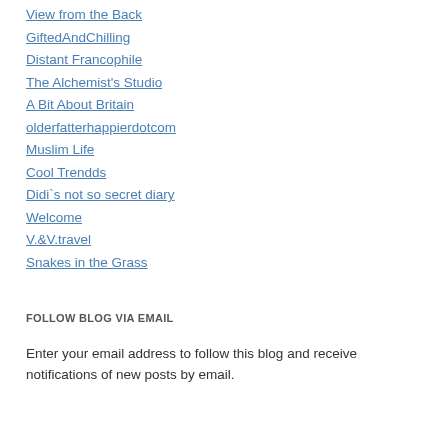View from the Back
GiftedAndChilling
Distant Francophile
The Alchemist's Studio
A Bit About Britain
olderfatterhappierdotcom
Muslim Life
Cool Trendds
Didi`s not so secret diary
Welcome
V.&V.travel
Snakes in the Grass
FOLLOW BLOG VIA EMAIL
Enter your email address to follow this blog and receive notifications of new posts by email.